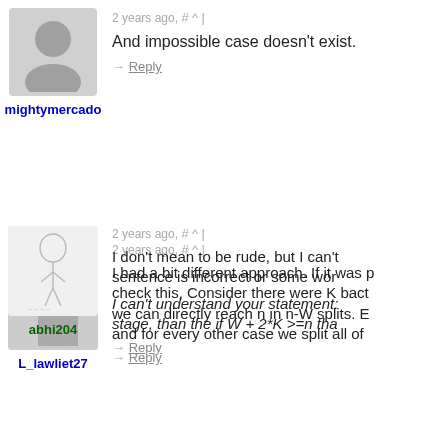[Figure (illustration): Default user avatar placeholder - grey silhouette person icon]
mightymercado
2 years ago, # ^ |
And impossible case doesn't exist.
→ Reply
[Figure (photo): Profile photo of L_lawliet27 - anime character with dark hair]
L_lawliet27
2 years ago, # ^ |
I had a bit different approach. If it was p check this, Consider there were K bact we can directly reach n in n-W splits. E and for every other case we split all of
→ Reply
[Figure (illustration): Profile image of abhi204 - anime character sketch]
abhi204
2 years ago, # ^ |
I don't mean to be rude, but I can't sentence is incorrect or some wor
I can't understand your statement: stage, than the if W + 2*K >=n tha
→ Reply